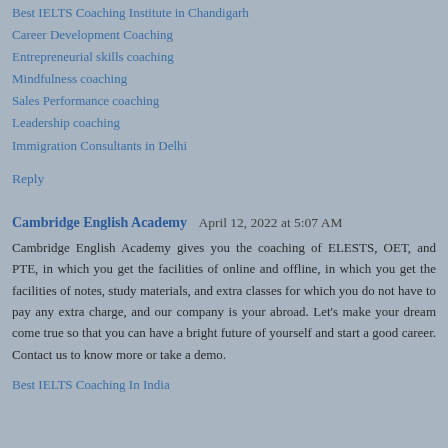Best IELTS Coaching Institute in Chandigarh
Career Development Coaching
Entrepreneurial skills coaching
Mindfulness coaching
Sales Performance coaching
Leadership coaching
Immigration Consultants in Delhi
Reply
Cambridge English Academy   April 12, 2022 at 5:07 AM
Cambridge English Academy gives you the coaching of ELESTS, OET, and PTE, in which you get the facilities of online and offline, in which you get the facilities of notes, study materials, and extra classes for which you do not have to pay any extra charge, and our company is your abroad. Let's make your dream come true so that you can have a bright future of yourself and start a good career. Contact us to know more or take a demo.
Best IELTS Coaching In India